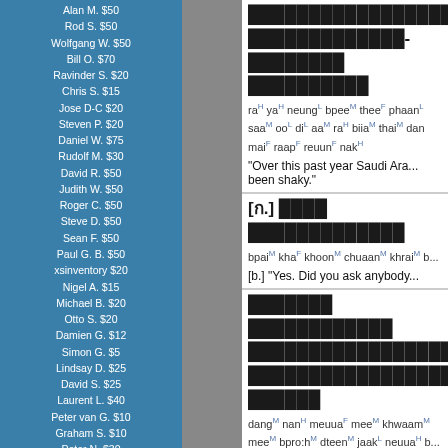Alan M. $50
Rod S. $50
Wolfgang W. $50
Bill O. $70
Ravinder S. $20
Chris S. $15
Jose D-C $20
Steven P. $20
Daniel W. $75
Rudolf M. $30
David R. $50
Judith W. $50
Roger C. $50
Steve D. $50
Sean F. $50
Paul G. B. $50
xsinventory $20
Nigel A. $15
Michael B. $20
Otto S. $20
Damien G. $12
Simon G. $5
Lindsay D. $25
David S. $25
Laurent L. $40
Peter van G. $10
Graham S. $10
Peter N. $30
James A. $10
Dmitry I. $10
Edward R. $50
Roderick S. $30
Mason S. $5
Henning E. $20
John F. $20
Daniel F. $10
Armand H. $20
Daniel S. $20
James McD. $20
Shane McC. $10
Roberts R. $50
Thai text block 1 with romanization: raH yaH neungL bpeeM theeF phaanL saaM ooL diL aaM raH biiaM thaiM dan maiF raapF reuunF nakH
"Over this past year Saudi Ara... been shaky."
[b.] Thai text with romanization: bpaiM khaF khoonM chuaanM khraiM b...
[b.] "Yes. Did you ask anybody..."
Thai text block 3 with romanization: dangM nanH meuuaF meeM khwaamM... meeM bpro:hM dteenM jaakL neuuaH b... khwaamM dtawngF gaanM luukF phan... maakF kheunF bpaiM duayF
"Therefore, at a time when we... for high protein fish, the dema..."